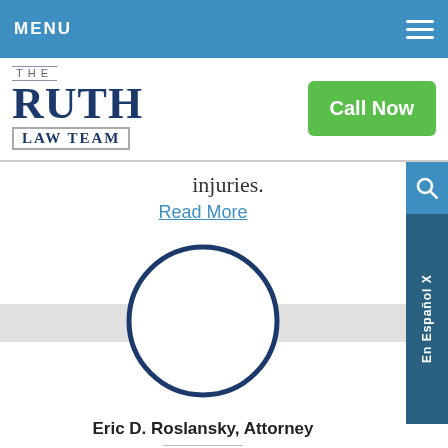MENU
[Figure (logo): The Ruth Law Team logo with Call Now button]
injuries.
Read More
[Figure (photo): Circular placeholder for attorney photo]
Eric D. Roslansky, Attorney
If insurance companies did the right